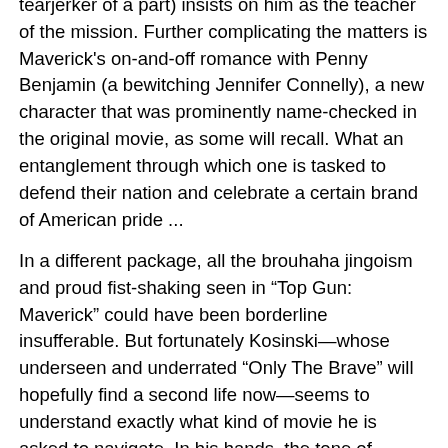tearjerker of a part) insists on him as the teacher of the mission. Further complicating the matters is Maverick's on-and-off romance with Penny Benjamin (a bewitching Jennifer Connelly), a new character that was prominently name-checked in the original movie, as some will recall. What an entanglement through which one is tasked to defend their nation and celebrate a certain brand of American pride ...
In a different package, all the brouhaha jingoism and proud fist-shaking seen in “Top Gun: Maverick” could have been borderline insufferable. But fortunately Kosinski—whose underseen and underrated “Only The Brave” will hopefully find a second life now—seems to understand exactly what kind of movie he is asked to navigate. In his hands, the tone of “Maverick” strikes a fine balance